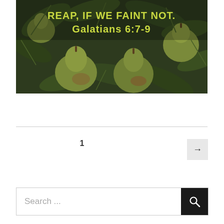[Figure (photo): Photo of green pears hanging on a tree with green leaves. Overlaid text in bold yellow-green font reads: REAP, IF WE FAINT NOT. Galatians 6:7-9]
1
→
Search ...